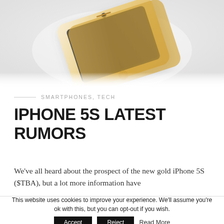[Figure (photo): Gold iPhone 5S smartphone photographed from above at an angle against a white/light gray gradient background]
SMARTPHONES, TECH
IPHONE 5S LATEST RUMORS
We've all heard about the prospect of the new gold iPhone 5S ($TBA), but a lot more information have
This website uses cookies to improve your experience. We'll assume you're ok with this, but you can opt-out if you wish. Accept Reject Read More